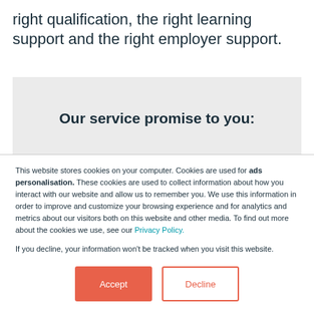right qualification, the right learning support and the right employer support.
Our service promise to you:
This website stores cookies on your computer. Cookies are used for ads personalisation. These cookies are used to collect information about how you interact with our website and allow us to remember you. We use this information in order to improve and customize your browsing experience and for analytics and metrics about our visitors both on this website and other media. To find out more about the cookies we use, see our Privacy Policy.
If you decline, your information won't be tracked when you visit this website.